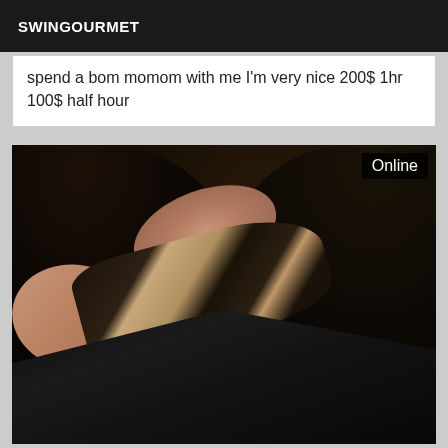SWINGOURMET
spend a bom momom with me I'm very nice 200$ 1hr 100$ half hour
[Figure (photo): Woman with dark hair wearing black lace lingerie, lying down, with 'Online' badge in upper right corner]